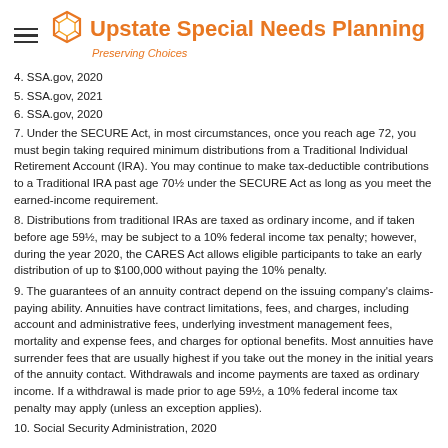Upstate Special Needs Planning — Preserving Choices
4. SSA.gov, 2020
5. SSA.gov, 2021
6. SSA.gov, 2020
7. Under the SECURE Act, in most circumstances, once you reach age 72, you must begin taking required minimum distributions from a Traditional Individual Retirement Account (IRA). You may continue to make tax-deductible contributions to a Traditional IRA past age 70½ under the SECURE Act as long as you meet the earned-income requirement.
8. Distributions from traditional IRAs are taxed as ordinary income, and if taken before age 59½, may be subject to a 10% federal income tax penalty; however, during the year 2020, the CARES Act allows eligible participants to take an early distribution of up to $100,000 without paying the 10% penalty.
9. The guarantees of an annuity contract depend on the issuing company's claims-paying ability. Annuities have contract limitations, fees, and charges, including account and administrative fees, underlying investment management fees, mortality and expense fees, and charges for optional benefits. Most annuities have surrender fees that are usually highest if you take out the money in the initial years of the annuity contact. Withdrawals and income payments are taxed as ordinary income. If a withdrawal is made prior to age 59½, a 10% federal income tax penalty may apply (unless an exception applies).
10. Social Security Administration, 2020
The content is developed from sources believed to be providing accurate information. The information in this material is not intended as tax or legal advice. It may not be